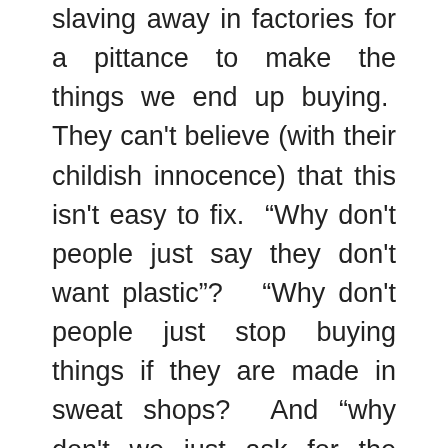slaving away in factories for a pittance to make the things we end up buying.  They can't believe (with their childish innocence) that this isn't easy to fix.  "Why don't people just say they don't want plastic"?   "Why don't people just stop buying things if they are made in sweat shops?  And "why don't we just ask for the workers to be paid more"?  Why indeed?
In the past we have always been in a rush at the last minute and ended up buying what we could easily get hold of in the local shops.  However, these bags are usually made in China, are most often cheap, and clearly not well made.  These are